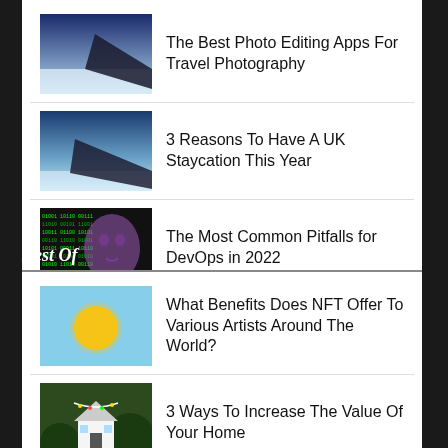The Best Photo Editing Apps For Travel Photography
3 Reasons To Have A UK Staycation This Year
The Most Common Pitfalls for DevOps in 2022
Best Of
What Benefits Does NFT Offer To Various Artists Around The World?
3 Ways To Increase The Value Of Your Home
How To...